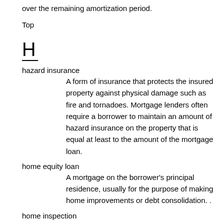over the remaining amortization period.
Top
H
hazard insurance
    A form of insurance that protects the insured property against physical damage such as fire and tornadoes. Mortgage lenders often require a borrower to maintain an amount of hazard insurance on the property that is equal at least to the amount of the mortgage loan.
home equity loan
    A mortgage on the borrower's principal residence, usually for the purpose of making home improvements or debt consolidation. .
home inspection
    A thorough review of the physical aspects and condition of a home by a professional home inspector.